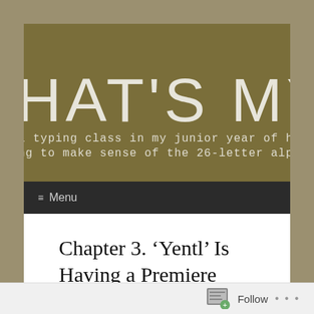[Figure (screenshot): Screenshot of a blog website header showing large text 'HAT'S MY' on an olive/khaki colored background with smaller monospace subtitle text below]
≡ Menu
Chapter 3. ‘Yentl’ Is Having a Premiere
jasonbroughton | November 10, 2013
Follow ...